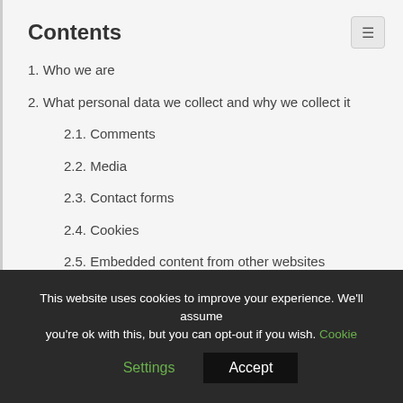Contents
1. Who we are
2. What personal data we collect and why we collect it
2.1. Comments
2.2. Media
2.3. Contact forms
2.4. Cookies
2.5. Embedded content from other websites
2.6. Analytics
This website uses cookies to improve your experience. We'll assume you're ok with this, but you can opt-out if you wish. Cookie Settings Accept